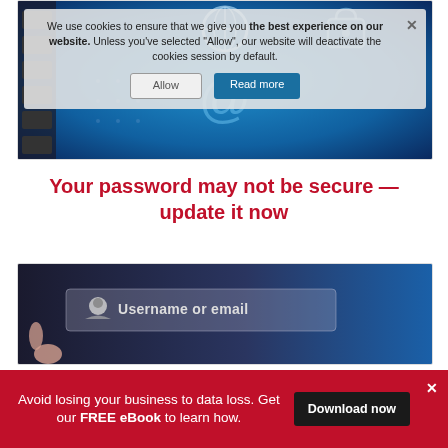[Figure (screenshot): A screenshot of a cybersecurity website showing a cookie consent banner overlaid on a digital lock/security themed image with blue tones, featuring an @ symbol and padlock. The banner reads: 'We use cookies to ensure that we give you the best experience on our website. Unless you've selected "Allow", our website will deactivate the cookies session by default.' with Allow and Read more buttons.]
Your password may not be secure — update it now
[Figure (screenshot): A screenshot of a login form on a dark blue/grey background, showing a form field labeled 'Username or email' with a user icon and a finger touching the screen.]
Avoid losing your business to data loss. Get our FREE eBook to learn how.